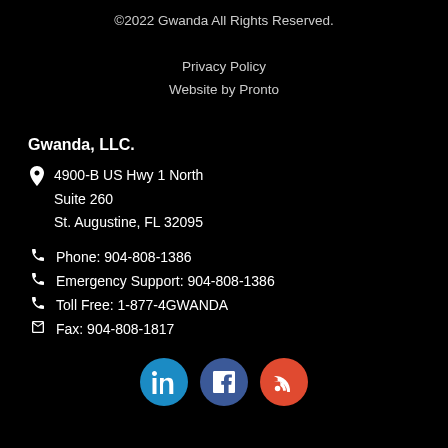©2022 Gwanda All Rights Reserved.

Privacy Policy
Website by Pronto
Gwanda, LLC.
4900-B US Hwy 1 North
Suite 260
St. Augustine, FL 32095
Phone: 904-808-1386
Emergency Support: 904-808-1386
Toll Free: 1-877-4GWANDA
Fax: 904-808-1817
[Figure (logo): Social media icons: LinkedIn (blue circle with 'in'), Facebook (dark blue circle with 'f'), RSS (red circle with wifi/rss icon)]